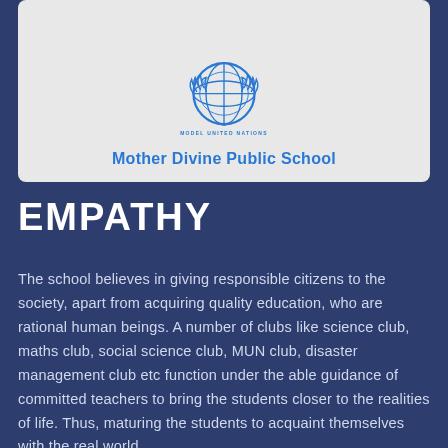[Figure (logo): Model United Nations globe logo with laurel wreath emblem in blue]
Mother Divine Public School
EMPATHY
The school believes in giving responsible citizens to the society, apart from acquiring quality education, who are rational human beings. A number of clubs like science club, maths club, social science club, MUN club, disaster management club etc function under the able guidance of committed teachers to bring the students closer to the realities of life. Thus, maturing the students to acquaint themselves with the real world.